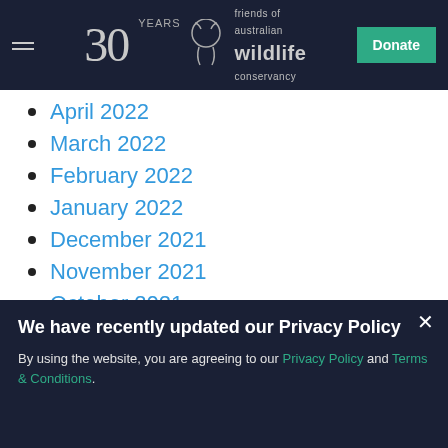30 YEARS friends of australian wildlife conservancy | Donate
April 2022
March 2022
February 2022
January 2022
December 2021
November 2021
October 2021
September 2021
August 2021
July 2021
We have recently updated our Privacy Policy
By using the website, you are agreeing to our Privacy Policy and Terms & Conditions.